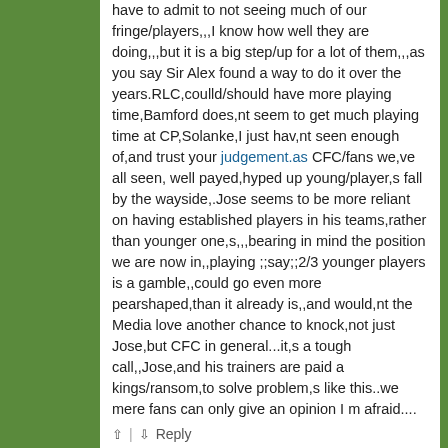have to admit to not seeing much of our fringe/players,,,I know how well they are doing,,,but it is a big step/up for a lot of them,,,as you say Sir Alex found a way to do it over the years.RLC,coulld/should have more playing time,Bamford does,nt seem to get much playing time at CP,Solanke,I just hav,nt seen enough of,and trust your judgement.as CFC/fans we,ve all seen, well payed,hyped up young/player,s fall by the wayside,.Jose seems to be more reliant on having established players in his teams,rather than younger one,s,,,bearing in mind the position we are now in,,playing ;;say;;2/3 younger players is a gamble,,could go even more pearshaped,than it already is,,and would,nt the Media love another chance to knock,not just Jose,but CFC in general...it,s a tough call,,Jose,and his trainers are paid a kings/ransom,to solve problem,s like this..we mere fans can only give an opinion I m afraid....
Reply
SomersetChels